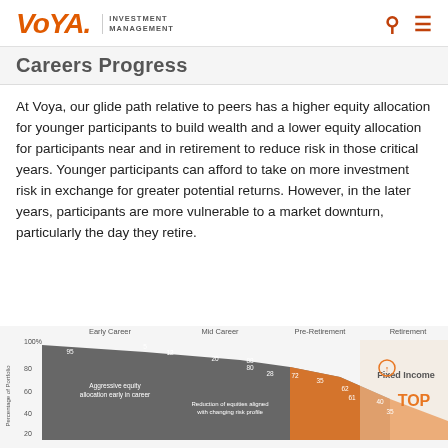Voya Investment Management
Careers Progress
At Voya, our glide path relative to peers has a higher equity allocation for younger participants to build wealth and a lower equity allocation for participants near and in retirement to reduce risk in those critical years. Younger participants can afford to take on more investment risk in exchange for greater potential returns. However, in the later years, participants are more vulnerable to a market downturn, particularly the day they retire.
[Figure (area-chart): Area chart showing equity vs fixed income allocation over career stages. Gray area represents equity (aggressive early, declining over time), orange area represents fixed income (growing near/in retirement). Y-axis shows percentage of portfolio 0-100%. Labels: '5','12','20','28','35' on equity line; '95','88','80','72','62' also shown; 'Aggressive equity allocation early in career', 'Reduction of equities aligned with changing risk profile', 'Fixed Income TOP'.]